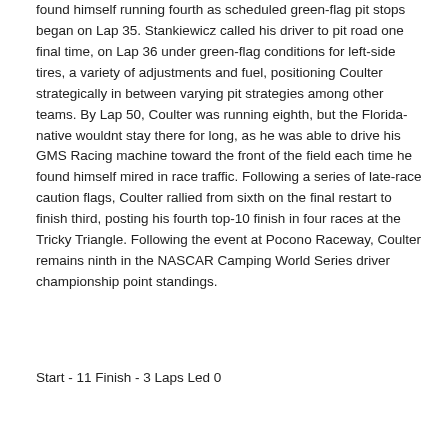found himself running fourth as scheduled green-flag pit stops began on Lap 35. Stankiewicz called his driver to pit road one final time, on Lap 36 under green-flag conditions for left-side tires, a variety of adjustments and fuel, positioning Coulter strategically in between varying pit strategies among other teams. By Lap 50, Coulter was running eighth, but the Florida-native wouldnt stay there for long, as he was able to drive his GMS Racing machine toward the front of the field each time he found himself mired in race traffic. Following a series of late-race caution flags, Coulter rallied from sixth on the final restart to finish third, posting his fourth top-10 finish in four races at the Tricky Triangle. Following the event at Pocono Raceway, Coulter remains ninth in the NASCAR Camping World Series driver championship point standings.
Start - 11 Finish - 3 Laps Led 0